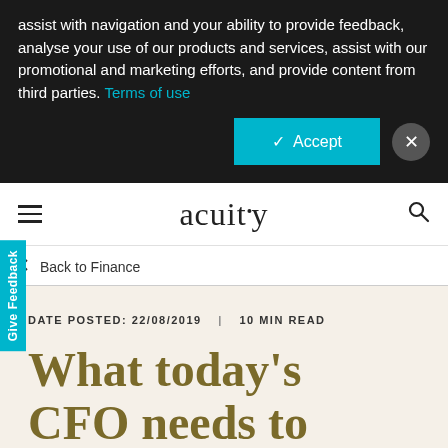assist with navigation and your ability to provide feedback, analyse your use of our products and services, assist with our promotional and marketing efforts, and provide content from third parties. Terms of use
✓  Accept
Give Feedback
acuity
Back to Finance
DATE POSTED: 22/08/2019  |  10 MIN READ
What today's CFO needs to